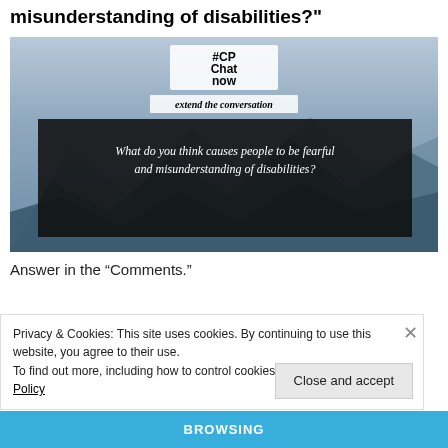misunderstanding of disabilities?"
[Figure (photo): A #CPChatNow social media image over a mountain/sky background. Text overlay 'extend the conversation' and dark box with question: 'What do you think causes people to be fearful and misunderstanding of disabilities?']
Answer in the “Comments.”
Privacy & Cookies: This site uses cookies. By continuing to use this website, you agree to their use.
To find out more, including how to control cookies, see here: Cookie Policy
Close and accept